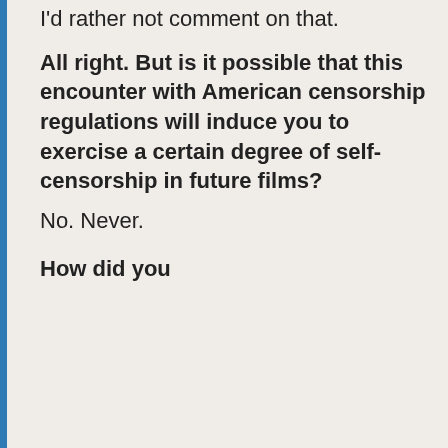I'd rather not comment on that.
All right. But is it possible that this encounter with American censorship regulations will induce you to exercise a certain degree of self-censorship in future films?
No. Never.
How did you